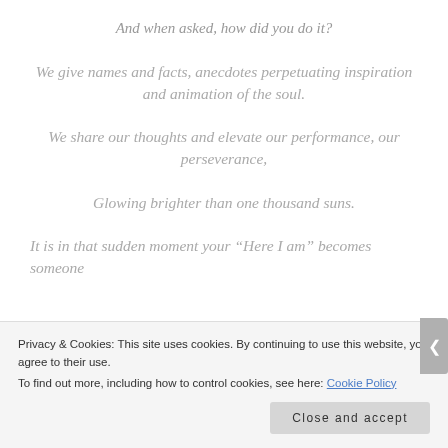And when asked, how did you do it?
We give names and facts, anecdotes perpetuating inspiration and animation of the soul.
We share our thoughts and elevate our performance, our perseverance,
Glowing brighter than one thousand suns.
It is in that sudden moment your “Here I am” becomes someone
Privacy & Cookies: This site uses cookies. By continuing to use this website, you agree to their use.
To find out more, including how to control cookies, see here: Cookie Policy